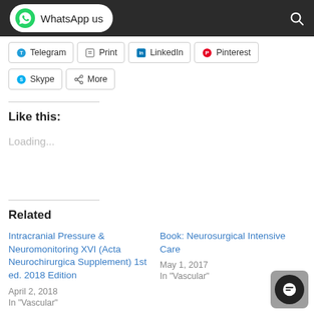[Figure (screenshot): Website header bar with WhatsApp us button and search icon on dark background]
Telegram
Print
LinkedIn
Pinterest
Skype
More
Like this:
Loading...
Related
Intracranial Pressure & Neuromonitoring XVI (Acta Neurochirurgica Supplement) 1st ed. 2018 Edition
April 2, 2018
In "Vascular"
Book: Neurosurgical Intensive Care
May 1, 2017
In "Vascular"